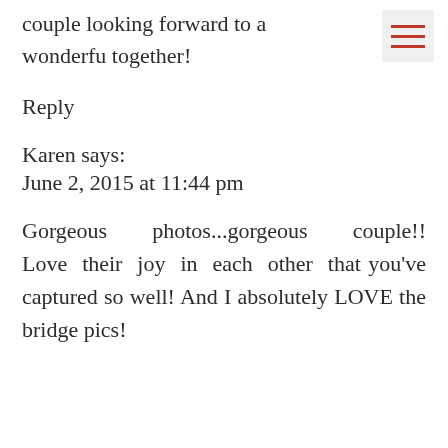couple looking forward to a wonderfu together!
Reply
Karen says:
June 2, 2015 at 11:44 pm
Gorgeous photos...gorgeous couple!! Love their joy in each other that you've captured so well! And I absolutely LOVE the bridge pics!